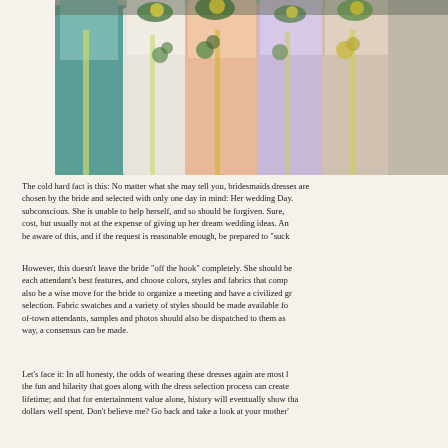[Figure (photo): Photo of bridesmaids standing together in pastel-colored dresses (teal, white, peach, and other light colors) holding flowers with ribbons]
The cold hard fact is this:  No matter what she may tell you, bridesmaids dresses are chosen by the bride and selected with only one day in mind:  Her wedding day.  subconscious.   She is unable to help herself, and so should be forgiven. Sure, cost, but usually not at the expense of giving up her dream wedding ideas.   An be aware of this, and if the request is reasonable enough, be prepared to "suck
However, this doesn't leave the bride "off the hook" completely.  She should be each attendant's best features, and choose colors, styles and fabrics that comp also be a wise move for the bride to organize a meeting and have a civilized gr selection.  Fabric swatches and a variety of styles should be made available fo of-town attendants, samples and photos should also be dispatched to them as way, a consensus can be made.
Let's face it:  In all honesty, the odds of wearing these dresses again are most l the fun and hilarity that goes along with the dress selection process can create lifetime; and  that for entertainment value alone, history will eventually show tha dollars well spent.  Don't believe me?  Go back and take a look at your mother'